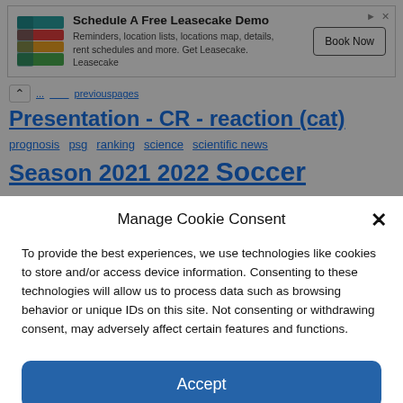[Figure (screenshot): Leasecake advertisement banner with logo, title 'Schedule A Free Leasecake Demo', description text, and 'Book Now' button]
Presentation - CR - reaction (cat)
prognosis  psg  ranking  science  scientific news
Season 2021 2022 Soccer
Manage Cookie Consent
To provide the best experiences, we use technologies like cookies to store and/or access device information. Consenting to these technologies will allow us to process data such as browsing behavior or unique IDs on this site. Not consenting or withdrawing consent, may adversely affect certain features and functions.
Accept
Cookie Policy